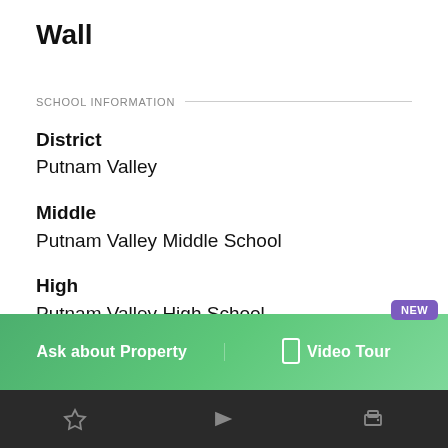Wall
SCHOOL INFORMATION
District
Putnam Valley
Middle
Putnam Valley Middle School
High
Putnam Valley High School
Ask about Property | Video Tour | NEW